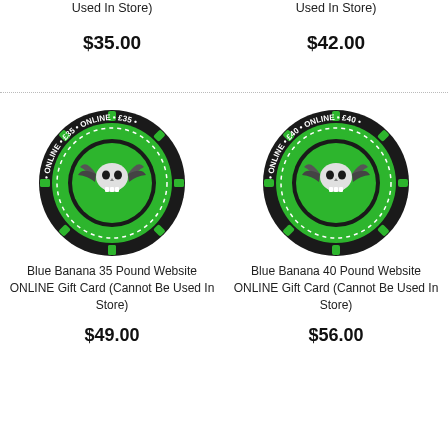Blue Banana 25 Pound Website ONLINE Gift Card (Cannot Be Used In Store)
$35.00
Blue Banana 30 Pound Website ONLINE Gift Card (Cannot Be Used In Store)
$42.00
[Figure (illustration): Green and black circular casino-style chip with skull and wings design, labeled ONLINE and £35]
Blue Banana 35 Pound Website ONLINE Gift Card (Cannot Be Used In Store)
$49.00
[Figure (illustration): Green and black circular casino-style chip with skull and wings design, labeled ONLINE and £40]
Blue Banana 40 Pound Website ONLINE Gift Card (Cannot Be Used In Store)
$56.00